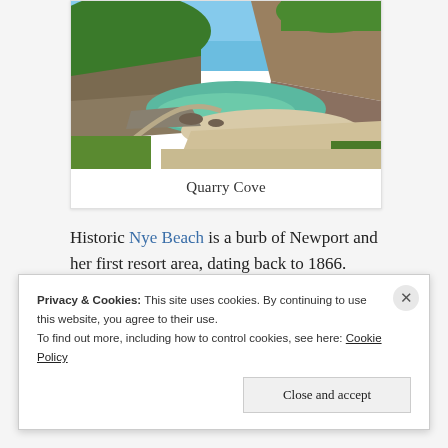[Figure (photo): Aerial/elevated view of Quarry Cove, showing a rocky coastal inlet with turquoise water, a sandy beach, rocky cliffs with green vegetation, and a winding path to the shore.]
Quarry Cove
Historic Nye Beach is a burb of Newport and her first resort area, dating back to 1866.
Privacy & Cookies: This site uses cookies. By continuing to use this website, you agree to their use.
To find out more, including how to control cookies, see here: Cookie Policy